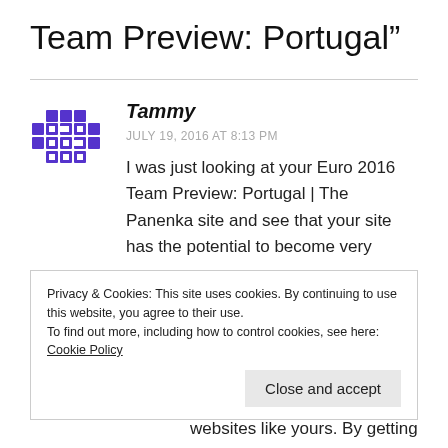Team Preview: Portugal”
[Figure (logo): Purple pixel/cross avatar icon for user Tammy]
Tammy
JULY 19, 2016 AT 8:13 PM
I was just looking at your Euro 2016 Team Preview: Portugal | The Panenka site and see that your site has the potential to become very
Privacy & Cookies: This site uses cookies. By continuing to use this website, you agree to their use.
To find out more, including how to control cookies, see here: Cookie Policy
Close and accept
websites like yours. By getting your website on